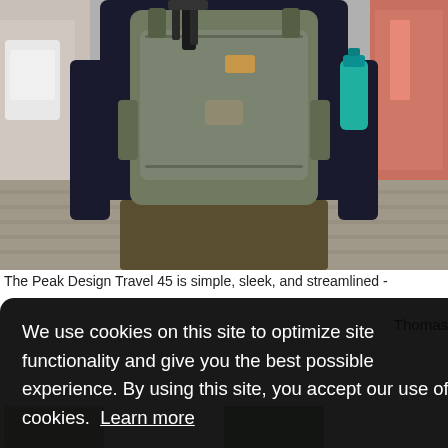[Figure (photo): Back view of a person wearing a large olive/grey Peak Design Travel 45 backpack, walking on a cobblestone street. A tripod is strapped to the back, and a water bottle is in the side pocket.]
The Peak Design Travel 45 is simple, sleek, and streamlined -
We use cookies on this site to optimize site functionality and give you the best possible experience. By using this site, you accept our use of cookies. Learn more
Got it!
Thomas